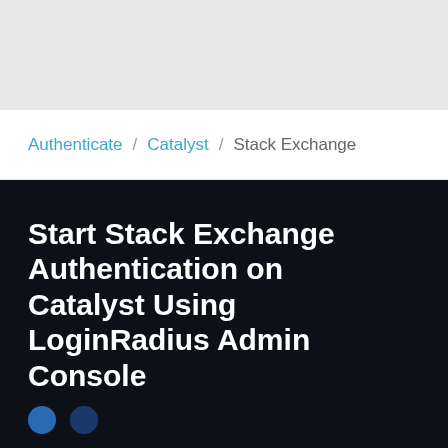Authenticate / Catalyst / Stack Exchange
Start Stack Exchange Authentication on Catalyst Using LoginRadius Admin Console